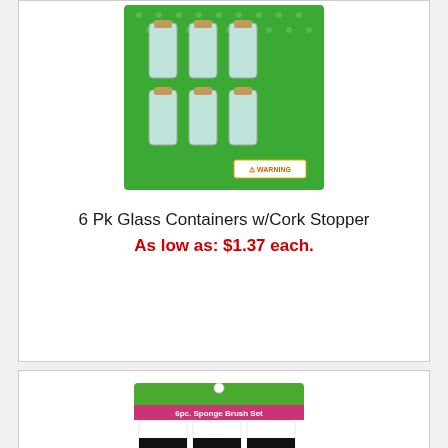[Figure (photo): 6 pack of glass containers with cork stoppers on green polka-dot blister card packaging with WARNING label]
6 Pk Glass Containers w/Cork Stopper
As low as: $1.37 each.
[Figure (photo): 6pc Sponge Brush Set on green card with pink label showing three flat sponge brushes with black foam tips]